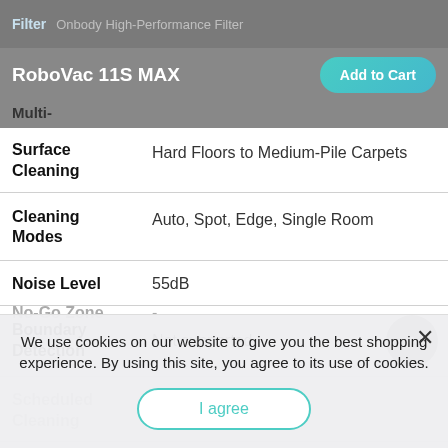Filter  Onbody High-Performance Filter
RoboVac 11S MAX  Add to Cart
Multi-
| Specification | Value |
| --- | --- |
| Surface Cleaning | Hard Floors to Medium-Pile Carpets |
| Cleaning Modes | Auto, Spot, Edge, Single Room |
| Noise Level | 55dB |
| Boundary Detection | Not supported |
| Scheduled Cleaning | Daily |
| No-Go Zone | - |
We use cookies on our website to give you the best shopping experience. By using this site, you agree to its use of cookies.
I agree